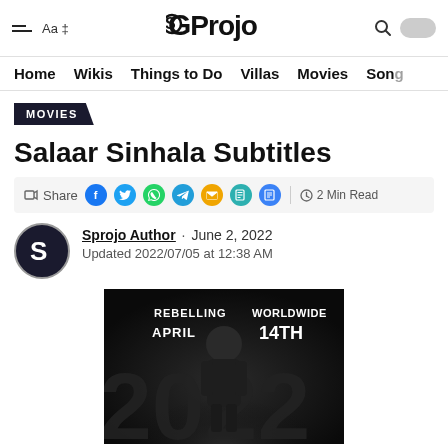Sprojo
Home  Wikis  Things to Do  Villas  Movies  Song
MOVIES
Salaar Sinhala Subtitles
Share | 2 Min Read
Sprojo Author · June 2, 2022
Updated 2022/07/05 at 12:38 AM
[Figure (photo): Movie promotional poster for Salaar showing a man standing with text 'REBELLING WORLDWIDE APRIL 14TH 2022']